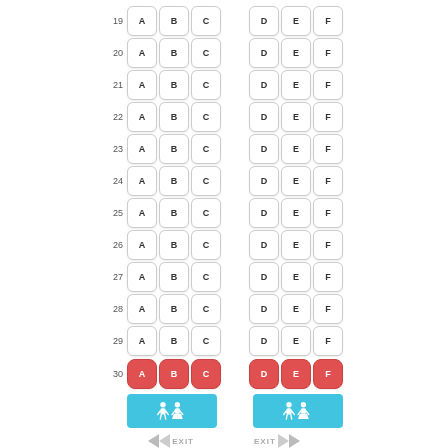[Figure (schematic): Airline seat map showing rows 19-30 with seats A, B, C on the left and D, E, F on the right. Row 30 seats are highlighted in red indicating a special category. Below row 30 are restroom/toilet symbols in cyan/teal. At the bottom are EXIT signs with chevron arrows on both sides.]